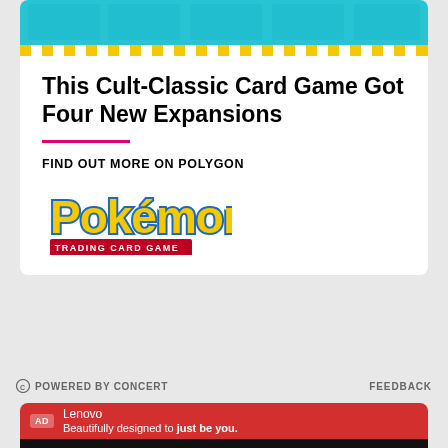[Figure (illustration): Pokemon Trading Card Game advertisement with checkerboard pattern in blue and yellow at top, bold headline, pink underline, FIND OUT MORE ON POLYGON text, and Pokemon Trading Card Game logo]
This Cult-Classic Card Game Got Four New Expansions
FIND OUT MORE ON POLYGON
POWERED BY CONCERT    FEEDBACK
[Figure (screenshot): Lenovo advertisement with red header bar showing AD badge, Lenovo brand name, tagline 'Beautifully designed to just be you.' and black video area showing error message 'The media could not be loaded, either because']